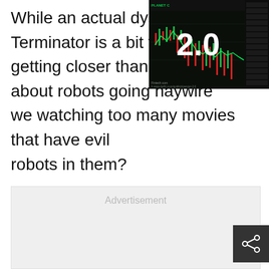While an actual dystopian future like in Terminator is a bit farfetched, we are getting closer than ever. Should we worry about robots going haywire? Or are we watching too many movies that have evil robots in them?
[Figure (screenshot): A screenshot of a trading/finance screen showing the number 2.0 in large white text over a stock chart with green and red candlesticks on a dark background. A Planet Finance logo badge is visible in the top-left corner.]
Advertisement